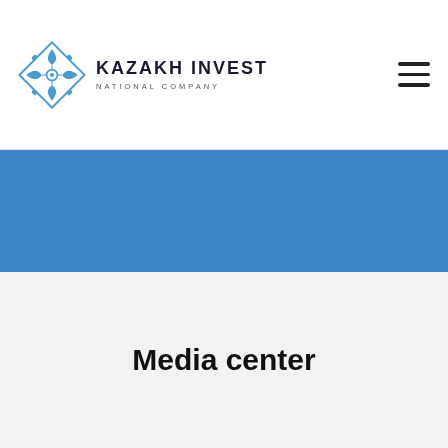[Figure (logo): Kazakh Invest National Company logo with decorative diamond geometric icon in blue and the company name]
Media center